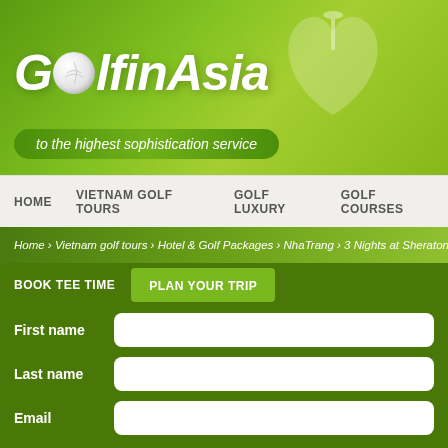[Figure (screenshot): Golf in Asia website header with green background, logo showing golf ball with text 'Golf in Asia', tagline 'to the highest sophistication service']
HOME   VIETNAM GOLF TOURS   GOLF LUXURY   GOLF COURSES
Home › Vietnam golf tours › Hotel & Golf Packages › NhaTrang › 3 Nights at Sheraton Nha T...
BOOK TEE TIME   PLAN YOUR TRIP
3 NIGHTS AT S
First name
Last name
Email
[Figure (photo): Photo of a modern hotel building exterior at dusk/evening with blue sky, warm lit windows, and a green circle button with up arrow in bottom right]